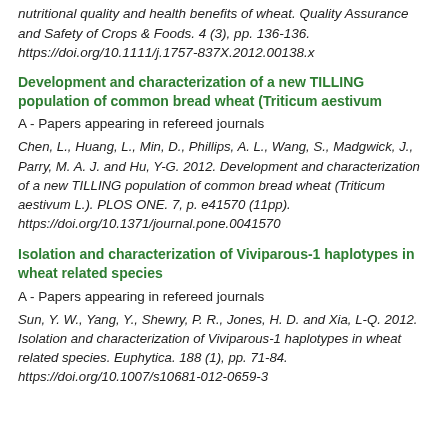nutritional quality and health benefits of wheat. Quality Assurance and Safety of Crops & Foods. 4 (3), pp. 136-136. https://doi.org/10.1111/j.1757-837X.2012.00138.x
Development and characterization of a new TILLING population of common bread wheat (Triticum aestivum
A - Papers appearing in refereed journals
Chen, L., Huang, L., Min, D., Phillips, A. L., Wang, S., Madgwick, J., Parry, M. A. J. and Hu, Y-G. 2012. Development and characterization of a new TILLING population of common bread wheat (Triticum aestivum L.). PLOS ONE. 7, p. e41570 (11pp). https://doi.org/10.1371/journal.pone.0041570
Isolation and characterization of Viviparous-1 haplotypes in wheat related species
A - Papers appearing in refereed journals
Sun, Y. W., Yang, Y., Shewry, P. R., Jones, H. D. and Xia, L-Q. 2012. Isolation and characterization of Viviparous-1 haplotypes in wheat related species. Euphytica. 188 (1), pp. 71-84. https://doi.org/10.1007/s10681-012-0659-3